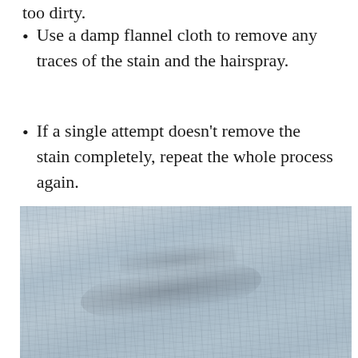too dirty.
Use a damp flannel cloth to remove any traces of the stain and the hairspray.
If a single attempt doesn't remove the stain completely, repeat the whole process again.
[Figure (photo): Close-up photograph of light blue/grey fabric or carpet showing a dark stain mark running diagonally across the surface.]